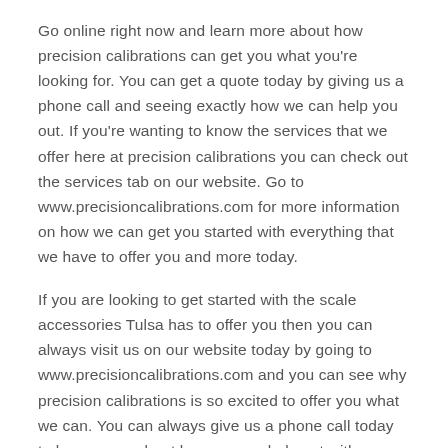Go online right now and learn more about how precision calibrations can get you what you're looking for. You can get a quote today by giving us a phone call and seeing exactly how we can help you out. If you're wanting to know the services that we offer here at precision calibrations you can check out the services tab on our website. Go to www.precisioncalibrations.com for more information on how we can get you started with everything that we have to offer you and more today.
If you are looking to get started with the scale accessories Tulsa has to offer you then you can always visit us on our website today by going to www.precisioncalibrations.com and you can see why precision calibrations is so excited to offer you what we can. You can always give us a phone call today to learn more about how we can help out with everything that we can. Call now by dialing 918-978-3378 for more information on us.